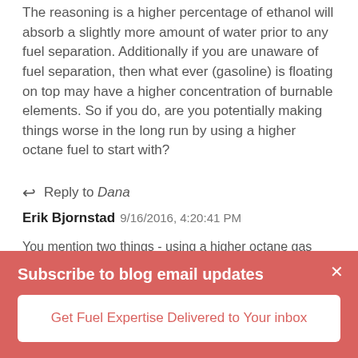The reasoning is a higher percentage of ethanol will absorb a slightly more amount of water prior to any fuel separation. Additionally if you are unaware of fuel separation, then what ever (gasoline) is floating on top may have a higher concentration of burnable elements. So if you do, are you potentially making things worse in the long run by using a higher octane fuel to start with?
Reply to Dana
Erik Bjornstad 9/16/2016, 4:20:41 PM
You mention two things - using a higher octane gas and using a gas with higher ethanol content. You're correct that higher ethanol content means more water can be
Subscribe to blog email updates
Get Fuel Expertise Delivered to Your inbox